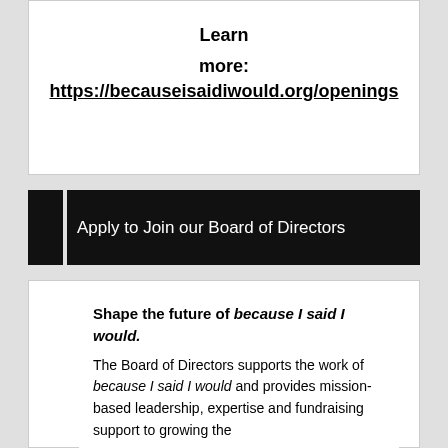Learn more: https://becauseisaidiwould.org/openings
Apply to Join our Board of Directors
Shape the future of because I said I would.
The Board of Directors supports the work of because I said I would and provides mission-based leadership, expertise and fundraising support to growing the